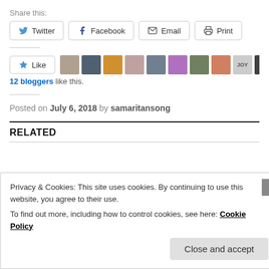Share this:
Twitter  Facebook  Email  Print
[Figure (other): Like button with star icon and 10 blogger avatar thumbnails]
12 bloggers like this.
Posted on July 6, 2018 by samaritansong
RELATED
Privacy & Cookies: This site uses cookies. By continuing to use this website, you agree to their use.
To find out more, including how to control cookies, see here: Cookie Policy